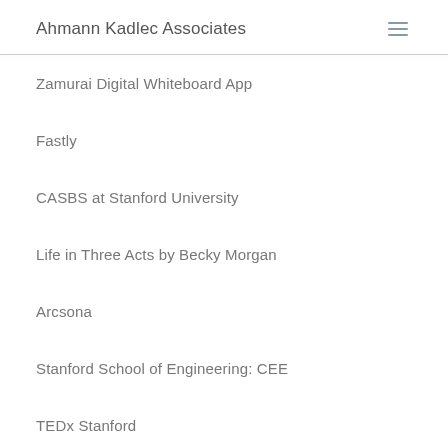Ahmann Kadlec Associates
Zamurai Digital Whiteboard App
Fastly
CASBS at Stanford University
Life in Three Acts by Becky Morgan
Arcsona
Stanford School of Engineering: CEE
TEDx Stanford